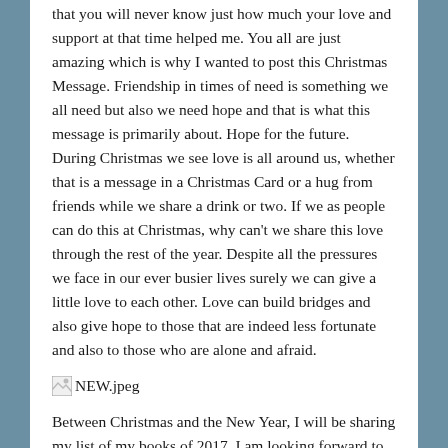that you will never know just how much your love and support at that time helped me. You all are just amazing which is why I wanted to post this Christmas Message. Friendship in times of need is something we all need but also we need hope and that is what this message is primarily about. Hope for the future. During Christmas we see love is all around us, whether that is a message in a Christmas Card or a hug from friends while we share a drink or two. If we as people can do this at Christmas, why can't we share this love through the rest of the year. Despite all the pressures we face in our ever busier lives surely we can give a little love to each other. Love can build bridges and also give hope to those that are indeed less fortunate and also to those who are alone and afraid.
[Figure (other): Broken image placeholder labeled NEW.jpeg]
Between Christmas and the New Year, I will be sharing my list of my books of 2017. I am looking forward to